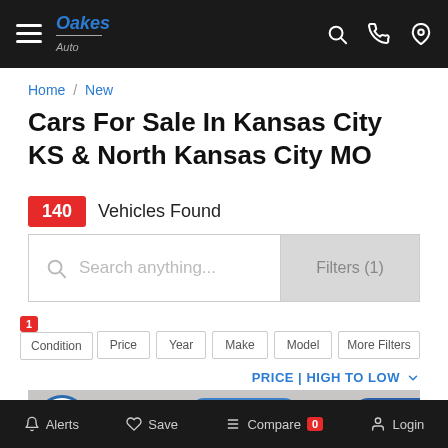Oakes Auto — navigation bar with hamburger menu, logo, search, phone, and location icons
Home / New
Cars For Sale In Kansas City KS & North Kansas City MO
140 Vehicles Found
Search anything... Filters (1)
1 Condition | Price | Year | Make | Model | More Filters
PRICE | HIGH TO LOW
[Figure (photo): Partial view of a red SUV/truck in a dealership lot]
Alerts  Save  Compare 0  Login